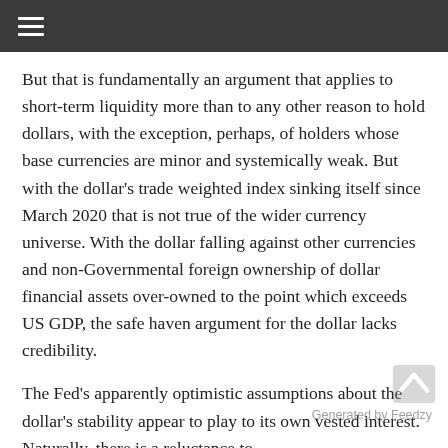≡
But that is fundamentally an argument that applies to short-term liquidity more than to any other reason to hold dollars, with the exception, perhaps, of holders whose base currencies are minor and systemically weak. But with the dollar's trade weighted index sinking itself since March 2020 that is not true of the wider currency universe. With the dollar falling against other currencies and non-Governmental foreign ownership of dollar financial assets over-owned to the point which exceeds US GDP, the safe haven argument for the dollar lacks credibility.
The Fed's apparently optimistic assumptions about the dollar's stability appear to play to its own vested interest. Naturally, there is a reluctance to